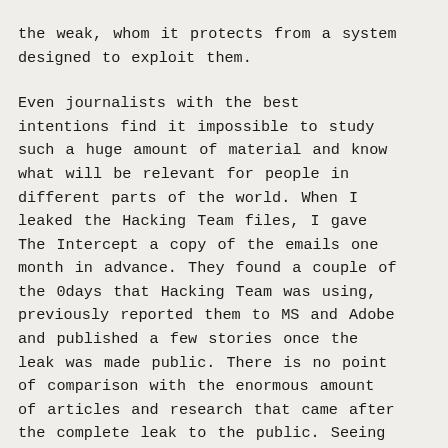the weak, whom it protects from a system designed to exploit them.

Even journalists with the best intentions find it impossible to study such a huge amount of material and know what will be relevant for people in different parts of the world. When I leaked the Hacking Team files, I gave The Intercept a copy of the emails one month in advance. They found a couple of the 0days that Hacking Team was using, previously reported them to MS and Adobe and published a few stories once the leak was made public. There is no point of comparison with the enormous amount of articles and research that came after the complete leak to the public. Seeing it this way, and also considering the (not) editorialized publication [1] of